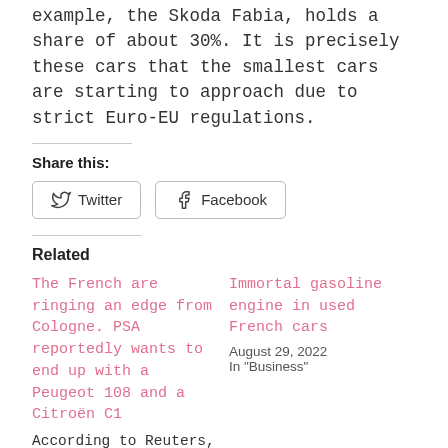example, the Skoda Fabia, holds a share of about 30%. It is precisely these cars that the smallest cars are starting to approach due to strict Euro-EU regulations.
Share this:
[Figure (other): Twitter and Facebook share buttons]
Related
The French are ringing an edge from Cologne. PSA reportedly wants to end up with a Peugeot 108 and a Citroën C1
According to Reuters, the French concern PSA is reviewing its product
Immortal gasoline engine in used French cars
August 29, 2022
In "Business"